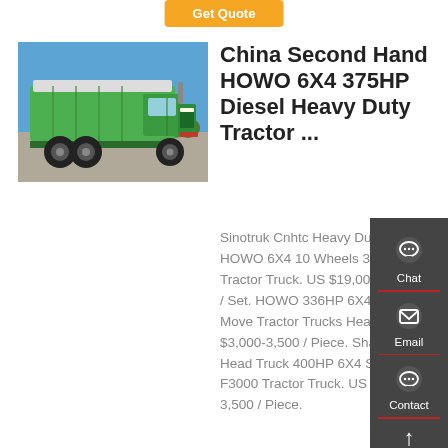[Figure (screenshot): Orange 'Get Quote' button at the top of a product listing page]
[Figure (photo): Green HOWO dump truck / heavy duty tractor truck parked outdoors, side/rear view, with blue sky background]
China Second Hand HOWO 6X4 375HP Diesel Heavy Duty Tractor ...
Sinotruk Cnhtc Heavy Duty HOWO 6X4 10 Wheels 30 T... Tractor Truck. US $19,000-29,000 / Set. HOWO 336HP 6X4 Prime Move Tractor Trucks Head. US $3,000-3,500 / Piece. Shacman Head Truck 400HP 6X4 Shacman F3000 Tractor Truck. US $3,000-3,500 / Piece.
[Figure (infographic): Dark gray sidebar with Chat, Email, Contact, and Top navigation icons]